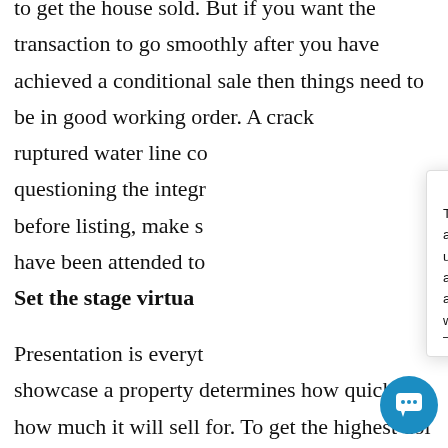to get the house sold. But if you want the transaction to go smoothly after you have achieved a conditional sale then things need to be in good working order. A crack ruptured water line co questioning the integ before listing, make s have been attended to
[Figure (screenshot): iGUIDE chat popup overlay showing office hours message: 'Thank you for visiting iGUIDE! Our office hours are Mon-Fri, 9:00 AM-5:00 PM EST. Please let us know what questions you would like answered, leave us your name and email address and we will get back to you as soon as we can.' with iGUIDE blue logo circle at top and X close button.]
Set the stage virtua
Presentation is everyt showcase a property determines how quickly a how much it will sell for. To get the highest dol the seller in the least amount of time you need to